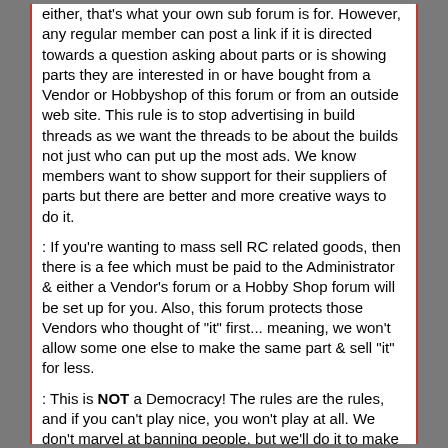either, that's what your own sub forum is for. However, any regular member can post a link if it is directed towards a question asking about parts or is showing parts they are interested in or have bought from a Vendor or Hobbyshop of this forum or from an outside web site. This rule is to stop advertising in build threads as we want the threads to be about the builds not just who can put up the most ads. We know members want to show support for their suppliers of parts but there are better and more creative ways to do it.
: If you're wanting to mass sell RC related goods, then there is a fee which must be paid to the Administrator & either a Vendor's forum or a Hobby Shop forum will be set up for you. Also, this forum protects those Vendors who thought of "it" first... meaning, we won't allow some one else to make the same part & sell "it" for less.
: This is NOT a Democracy! The rules are the rules, and if you can't play nice, you won't play at all. We don't marvel at banning people, but we'll do it to make the site a better place.
Buy/Sale/Trade
: The Buy/Sell/Trade forum is for long established members to trade goods amongst themselves. Newcomers looking to dump their hobby -> take it to eBay.
: All members to the forum are allowed viewable privileges to